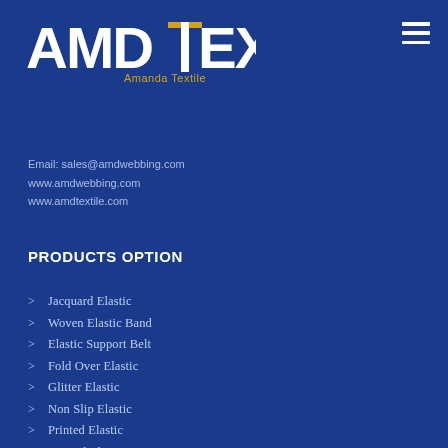[Figure (logo): AMDTEX / Amanda Textile logo in white and gold on blue background]
City: Wuxi, China
Tel: +86 510 8622 8757
Fax: +86 510 8622 8757
Mob: +86 159 5014 2554
Email: sales@amdwebbing.com
www.amdwebbing.com
www.amdtextile.com
PRODUCTS OPTION
Jacquard Elastic
Woven Elastic Band
Elastic Support Belt
Fold Over Elastic
Glitter Elastic
Non Slip Elastic
Printed Elastic
Knitted Elastic